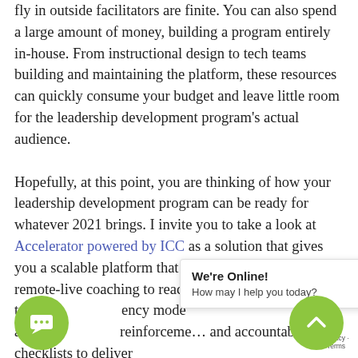fly in outside facilitators are finite. You can also spend a large amount of money, building a program entirely in-house. From instructional design to tech teams building and maintaining the platform, these resources can quickly consume your budget and leave little room for the leadership development program's actual audience.

Hopefully, at this point, you are thinking of how your leadership development program can be ready for whatever 2021 brings. I invite you to take a look at Accelerator powered by ICC as a solution that gives you a scalable platform that blends technology with remote-live coaching to reach your targeted team [in an urgency mode] accountability reinforcement and accountability checklists to deliver